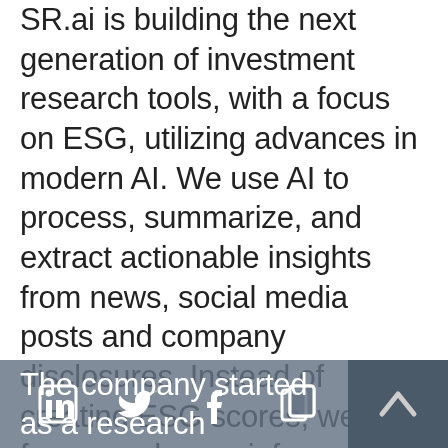SR.ai is building the next generation of investment research tools, with a focus on ESG, utilizing advances in modern AI. We use AI to process, summarize, and extract actionable insights from news, social media posts and company disclosures. Instead of creating ESG scores, we focus on deeper information and decision support, enabling investors to “supercharge” their own research.
The company started as a research